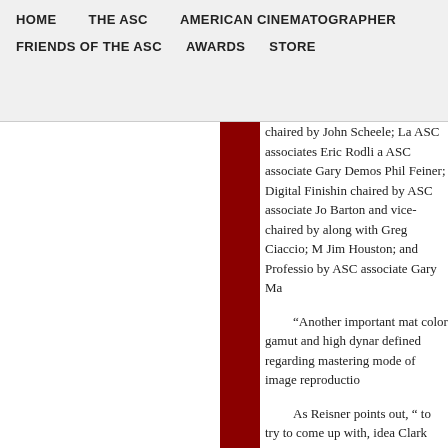HOME  THE ASC  AMERICAN CINEMATOGRAPHER  FRIENDS OF THE ASC  AWARDS  STORE
chaired by John Scheele; La ASC associates Eric Rodli a ASC associate Gary Demos Phil Feiner; Digital Finishing chaired by ASC associate Jo Barton and vice-chaired by along with Greg Ciaccio; M Jim Houston; and Professio by ASC associate Gary Ma
“Another important mat color gamut and high dynar defined regarding mastering mode of image reproductio
As Reisner points out, “ to try to come up with, idea Clark adds, “is what our UH active participation from se
Levinson describes how subcommittee focused on d